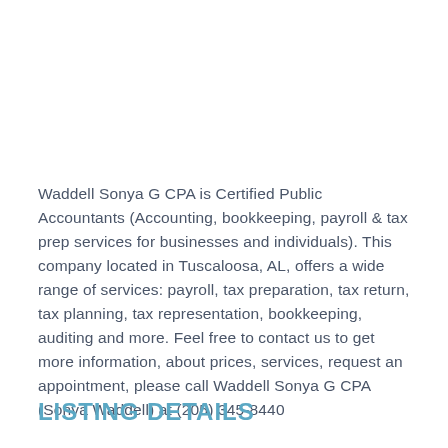Waddell Sonya G CPA is Certified Public Accountants (Accounting, bookkeeping, payroll & tax prep services for businesses and individuals). This company located in Tuscaloosa, AL, offers a wide range of services: payroll, tax preparation, tax return, tax planning, tax representation, bookkeeping, auditing and more. Feel free to contact us to get more information, about prices, services, request an appointment, please call Waddell Sonya G CPA (Sonya Waddell) at (205) 345-8440
LISTING DETAILS